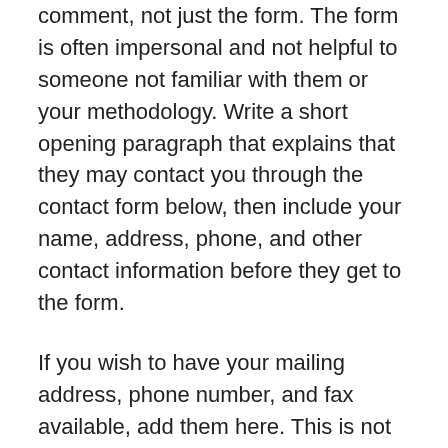comment, not just the form. The form is often impersonal and not helpful to someone not familiar with them or your methodology. Write a short opening paragraph that explains that they may contact you through the contact form below, then include your name, address, phone, and other contact information before they get to the form.
If you wish to have your mailing address, phone number, and fax available, add them here. This is not required and your choice. These forms of contact are traditional, but still used by many businesses.
Include a list, with images or without, of all the social media sites and services you are a member of, as well as all the various websites you own or write for. This offers them options familiar to them for contacting and interacting with you.